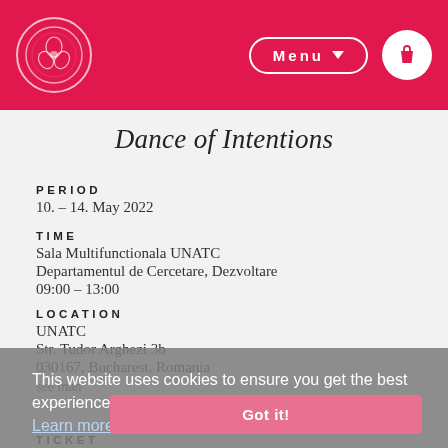Menu [navigation bar with logo and bag icon]
Dance of Intentions
PERIOD
10. – 14. May 2022
TIME
Sala Multifunctionala UNATC
Departamentul de Cercetare, Dezvoltare
09:00 – 13:00
LOCATION
UNATC
Str. Tudor Arghezi 3b
030167, Bucharest, Romania
see man
This website uses cookies to ensure you get the best experience on our website. Learn more
Got it!
TICKET